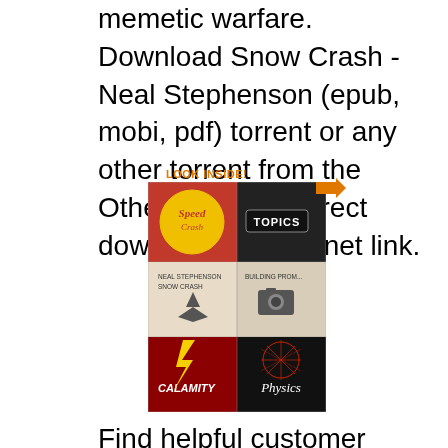memetic warfare. Download Snow Crash - Neal Stephenson (epub, mobi, pdf) torrent or any other torrent from the Other E-books. Direct download via magnet link.
[Figure (illustration): Book cover showing 'Look Inside!' badge and a collage of book covers including topics, Calamity, Physics, and other books in a grid layout]
Find helpful customer reviews and review ratings for Snow Crash at Amazon.com. Read honest and unbiased product reviews from our users. Snow Crash by Neal Stephenson epub RtB 9 torrent download locations